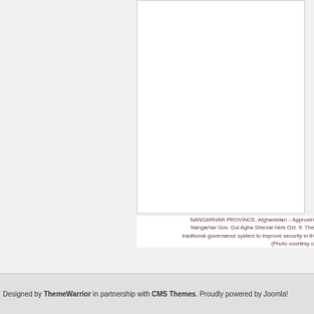[Figure (photo): Photo of Nangarhar Province, Afghanistan event with Gov. Gul Agha Sherzai, partially visible white rectangle representing a photo placeholder]
NANGARHAR PROVINCE, Afghanistan – Approxin Nangarhar Gov. Gul Agha Sherzai here Oct. 9. The traditional governance system to improve security in th (Photo courtesy o
Designed by ThemeWarrior in partnership with CMS Themes. Proudly powered by Joomla!